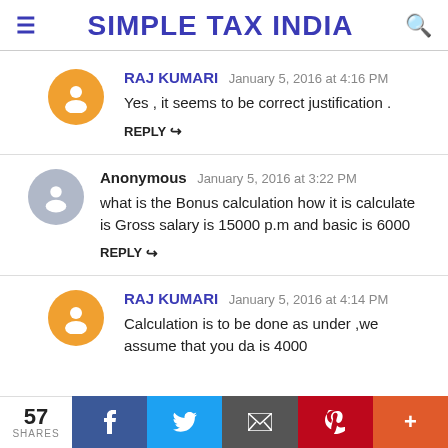SIMPLE TAX INDIA
RAJ KUMARI January 5, 2016 at 4:16 PM
Yes , it seems to be correct justification .
REPLY
Anonymous January 5, 2016 at 3:22 PM
what is the Bonus calculation how it is calculate is Gross salary is 15000 p.m and basic is 6000
REPLY
RAJ KUMARI January 5, 2016 at 4:14 PM
Calculation is to be done as under ,we assume that you da is 4000
57 SHARES